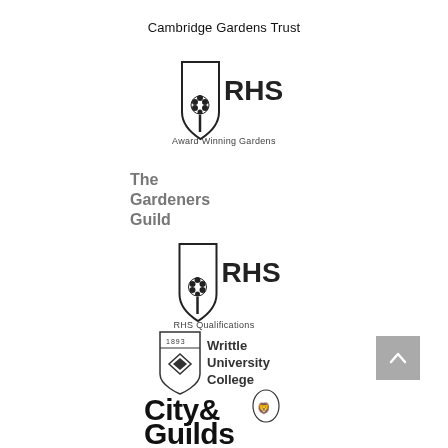Cambridge Gardens Trust
[Figure (logo): RHS Award Winning Gardens logo — shield with tree icon and RHS text, caption 'Award Winning Gardens']
[Figure (logo): The Gardeners Guild logo in grey text]
[Figure (logo): RHS Qualifications logo — shield with tree icon and RHS text, caption 'RHS Qualifications']
[Figure (logo): Writtle University College logo — 1893 shield with chevron and text]
[Figure (logo): City & Guilds logo — bold text with lion emblem]